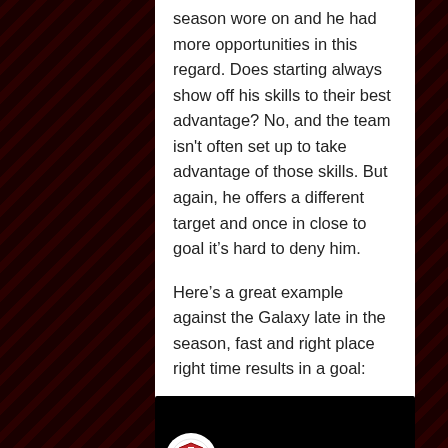season wore on and he had more opportunities in this regard.  Does starting always show off his skills to their best advantage?  No, and the team isn't often set up to take advantage of those skills.  But again, he offers a different target and once in close to goal it's hard to deny him.
Here's a great example against the Galaxy late in the season, fast and right place right time results in a goal:
[Figure (screenshot): YouTube video thumbnail showing Toronto FC logo and title 'Tosaint Ricke...' with three-dot menu icon on black background]